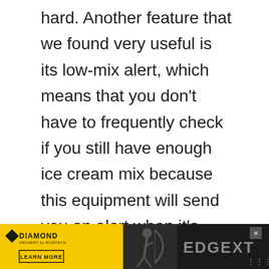hard. Another feature that we found very useful is its low-mix alert, which means that you don't have to frequently check if you still have enough ice cream mix because this equipment will send you an alert when it's already at a certain level.
Moreover, this machine has a 30-percent overrun which is optimal for maintaining the flavor of the soft serve ice cream. For a business, this overrun percentage is
[Figure (other): Diamond Archery advertisement banner featuring Edge XT product with archer silhouette, yellow and black color scheme, Learn More button]